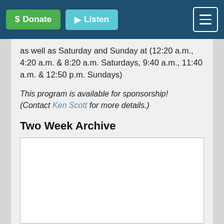$ Donate  ▶ Listen  ☰
as well as Saturday and Sunday at (12:20 a.m., 4:20 a.m. & 8:20 a.m. Saturdays, 9:40 a.m., 11:40 a.m. & 12:50 p.m. Sundays)
This program is available for sponsorship! (Contact Ken Scott for more details.)
Two Week Archive
[Figure (other): White rectangular archive embed box]